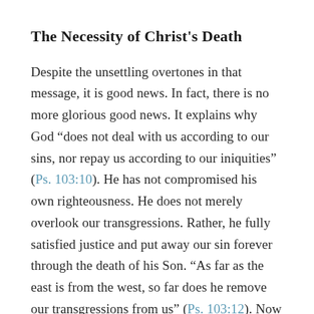The Necessity of Christ's Death
Despite the unsettling overtones in that message, it is good news. In fact, there is no more glorious good news. It explains why God “does not deal with us according to our sins, nor repay us according to our iniquities” (Ps. 103:10). He has not compromised his own righteousness. He does not merely overlook our transgressions. Rather, he fully satisfied justice and put away our sin forever through the death of his Son. “As far as the east is from the west, so far does he remove our transgressions from us” (Ps. 103:12). Now grace can truly reign through righteousness (Rom. 5:21). And God can be both “just and the justifier of the one who has faith in Jesus” (Rom.